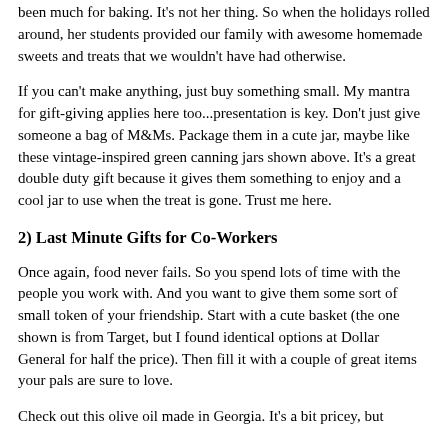been much for baking. It's not her thing. So when the holidays rolled around, her students provided our family with awesome homemade sweets and treats that we wouldn't have had otherwise.
If you can't make anything, just buy something small. My mantra for gift-giving applies here too...presentation is key. Don't just give someone a bag of M&Ms. Package them in a cute jar, maybe like these vintage-inspired green canning jars shown above. It's a great double duty gift because it gives them something to enjoy and a cool jar to use when the treat is gone. Trust me here.
2) Last Minute Gifts for Co-Workers
Once again, food never fails. So you spend lots of time with the people you work with. And you want to give them some sort of small token of your friendship. Start with a cute basket (the one shown is from Target, but I found identical options at Dollar General for half the price). Then fill it with a couple of great items your pals are sure to love.
Check out this olive oil made in Georgia. It's a bit pricey, but